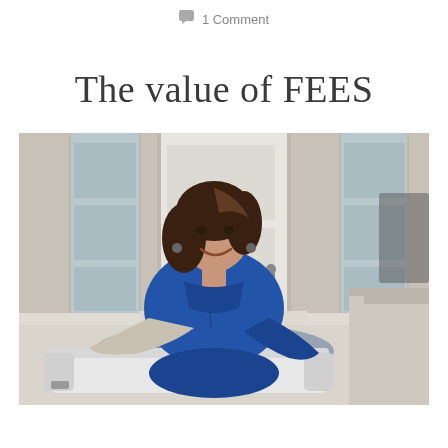1 Comment
The value of FEES
[Figure (photo): A woman in blue scrubs smiling, reclining on a stairlift chair in a home entryway with white door, sidelights, and decorative rug visible in the background.]